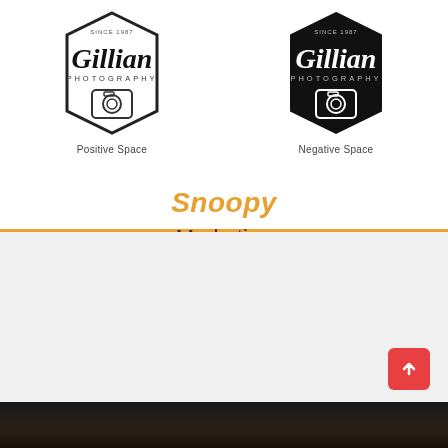[Figure (logo): Gillian Photography logo in positive space (outline hexagon with script text and camera icon), labeled 'Positive Space']
[Figure (logo): Gillian Photography logo in negative space (filled black hexagon with white script text and camera icon), labeled 'Negative Space']
Snoopy
Marketing
[Figure (photo): Dark photograph showing a dimly lit scene, bottom portion of page]
[Figure (other): Red back-to-top arrow button in bottom right corner]